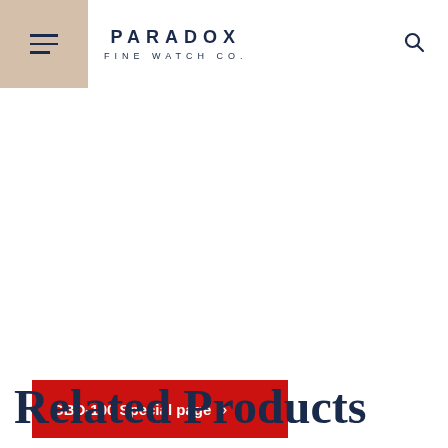PARADOX FINE WATCH CO.
GBD-100 Special page >
Related Products